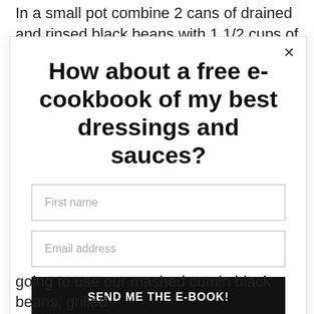In a small pot combine 2 cans of drained and rinsed black beans with 1 1/2 cups of water, 1tsp of ground
[Figure (screenshot): Modal popup overlay with bold headline 'How about a free e-cookbook of my best dressings and sauces?', a 'First name' input field, an 'Email address' input field, and a black 'SEND ME THE E-BOOK!' button. Close X button in top-right corner.]
going to use our mashed cumin black beans, grilled